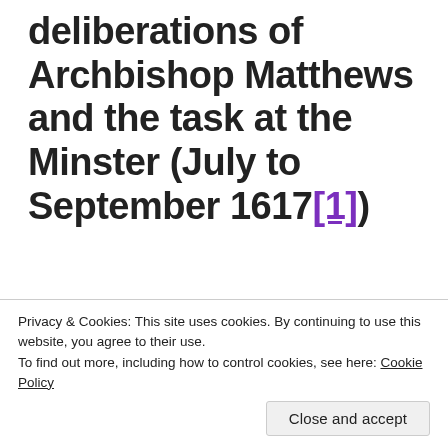deliberations of Archbishop Matthews and the task at the Minster (July to September 1617[1])
[Figure (other): Partial circular diagram (half circle with vertical center line) — top portion of a larger illustration, cropped at bottom.]
Privacy & Cookies: This site uses cookies. By continuing to use this website, you agree to their use.
To find out more, including how to control cookies, see here: Cookie Policy